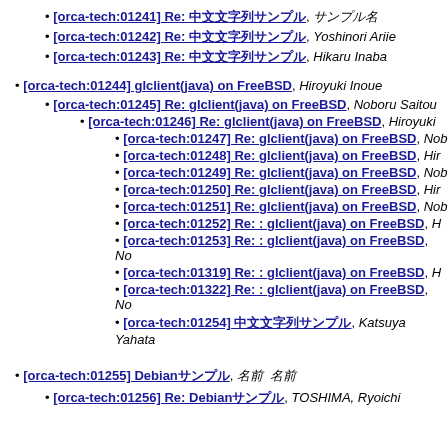[orca-tech:01241] Re: [Japanese text], [Japanese text]
[orca-tech:01242] Re: [Japanese text], Yoshinori Ariie
[orca-tech:01243] Re: [Japanese text], Hikaru Inaba
[orca-tech:01244] glclient(java) on FreeBSD, Hiroyuki Inoue
[orca-tech:01245] Re: glclient(java) on FreeBSD, Noboru Saitou
[orca-tech:01246] Re: glclient(java) on FreeBSD, Hiroyuki
[orca-tech:01247] Re: glclient(java) on FreeBSD, Nob
[orca-tech:01248] Re: glclient(java) on FreeBSD, Hir
[orca-tech:01249] Re: glclient(java) on FreeBSD, Nob
[orca-tech:01250] Re: glclient(java) on FreeBSD, Hir
[orca-tech:01251] Re: glclient(java) on FreeBSD, Nob
[orca-tech:01252] Re: : glclient(java) on FreeBSD, H
[orca-tech:01253] Re: : glclient(java) on FreeBSD, No
[orca-tech:01319] Re: : glclient(java) on FreeBSD, H
[orca-tech:01322] Re: : glclient(java) on FreeBSD, No
[orca-tech:01254] [Japanese text], Katsuya Yahata
[orca-tech:01255] Debian[Japanese text], [Japanese text]
[orca-tech:01256] Re: Debian[Japanese text], TOSHIMA, Ryoichi